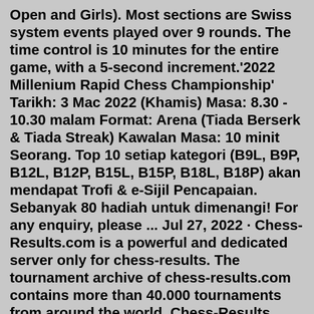Open and Girls). Most sections are Swiss system events played over 9 rounds. The time control is 10 minutes for the entire game, with a 5-second increment.'2022 Millenium Rapid Chess Championship' Tarikh: 3 Mac 2022 (Khamis) Masa: 8.30 - 10.30 malam Format: Arena (Tiada Berserk & Tiada Streak) Kawalan Masa: 10 minit Seorang. Top 10 setiap kategori (B9L, B9P, B12L, B12P, B15L, B15P, B18L, B18P) akan mendapat Trofi & e-Sijil Pencapaian. Sebanyak 80 hadiah untuk dimenangi! For any enquiry, please ... Jul 27, 2022 · Chess-Results.com is a powerful and dedicated server only for chess-results. The tournament archive of chess-results.com contains more than 40.000 tournaments from around the world. Chess-Results Server Chess-results.com - 21st European Youth Rapid Chess Championship 2022_U12 Apr 20, 2022 · The prize fund for Rapid will be ₹400,000, the first prize being ₹75000. For Blitz event, total prize fund is ₹250,000, first prize ₹50000. Apart from the prizes, the winner